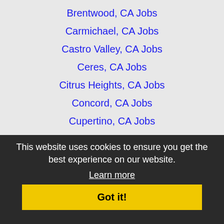Brentwood, CA Jobs
Carmichael, CA Jobs
Castro Valley, CA Jobs
Ceres, CA Jobs
Citrus Heights, CA Jobs
Concord, CA Jobs
Cupertino, CA Jobs
Daly City, CA Jobs
Danville, CA Jobs
Davis, CA Jobs
Dublin, CA Jobs
Elk Grove, CA Jobs
Fairfield, CA Jobs
Folsom, CA Jobs
Gilroy, CA Jobs
Hayward, CA Jobs
Laguna, CA Jobs
Livermore, CA Jobs
This website uses cookies to ensure you get the best experience on our website.
Learn more
Got it!